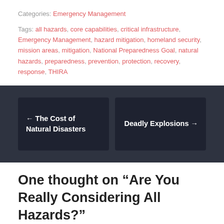Categories: Emergency Management
Tags: all hazards, core capabilities, critical infrastructure, Emergency Management, hazard mitigation, homeland security, mission areas, mitigation, National Preparedness Goal, natural hazards, preparedness, prevention, protection, recovery, response, THIRA
← The Cost of Natural Disasters
Deadly Explosions →
One thought on “Are You Really Considering All Hazards?”
Pingback: Deadly Explosions | Tim Riecker